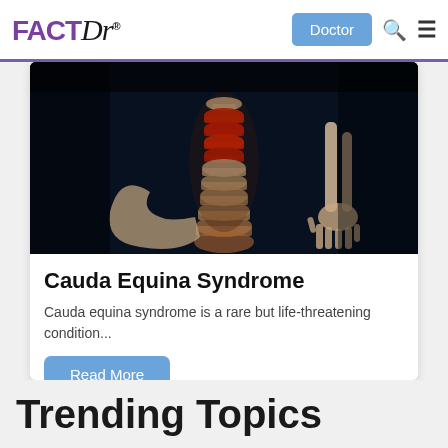[Figure (logo): FACTDr logo with FACT in purple bold and Dr in italic serif, followed by registered trademark symbol]
[Figure (screenshot): Navigation bar with Doctor button, search icon, and hamburger menu icon]
[Figure (photo): Medical illustration of human spine with red highlighted vertebrae against a dark background, with skeletal hand/arm visible on right side]
Cauda Equina Syndrome
Cauda equina syndrome is a rare but life-threatening condition...
Read More
Trending Topics